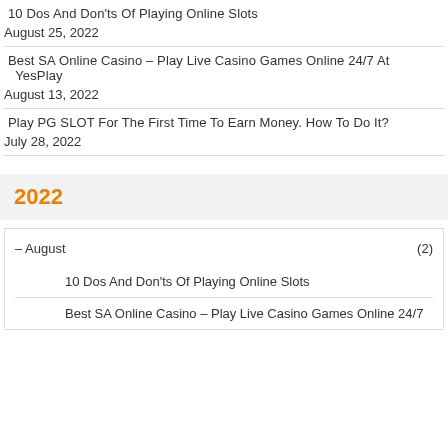10 Dos And Don'ts Of Playing Online Slots
August 25, 2022
Best SA Online Casino – Play Live Casino Games Online 24/7 At YesPlay
August 13, 2022
Play PG SLOT For The First Time To Earn Money. How To Do It?
July 28, 2022
2022
– August (2)
10 Dos And Don'ts Of Playing Online Slots
Best SA Online Casino – Play Live Casino Games Online 24/7